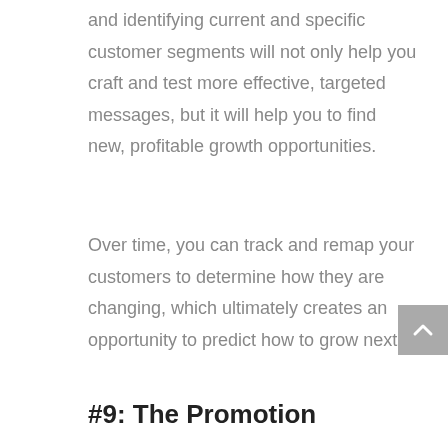and identifying current and specific customer segments will not only help you craft and test more effective, targeted messages, but it will help you to find new, profitable growth opportunities.
Over time, you can track and remap your customers to determine how they are changing, which ultimately creates an opportunity to predict how to grow next.
#9: The Promotion